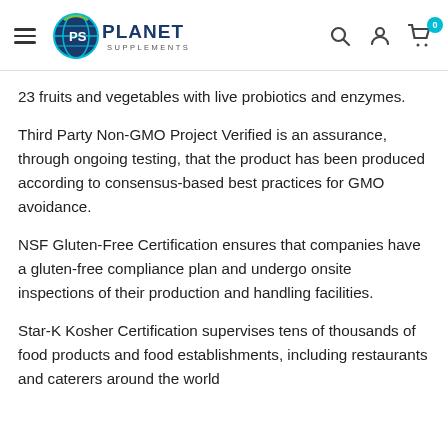Planet Supplements — navigation header with logo, search, account, and cart icons
23 fruits and vegetables with live probiotics and enzymes.
Third Party Non-GMO Project Verified is an assurance, through ongoing testing, that the product has been produced according to consensus-based best practices for GMO avoidance.
NSF Gluten-Free Certification ensures that companies have a gluten-free compliance plan and undergo onsite inspections of their production and handling facilities.
Star-K Kosher Certification supervises tens of thousands of food products and food establishments, including restaurants and caterers around the world